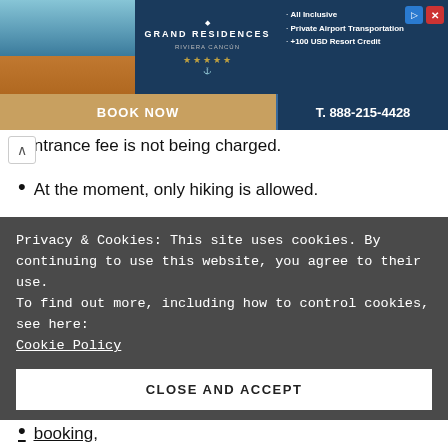[Figure (photo): Grand Residences hotel advertisement banner with resort photo, logo, amenities list and booking phone number T. 888-215-4428]
ntrance fee is not being charged.
At the moment, only hiking is allowed.
You can only go with a booking: write to reservaparquecampana@miambiente.gob.pa
Information to give to make the booking
Do it with a minimum of 72 hours in advance
Privacy & Cookies: This site uses cookies. By continuing to use this website, you agree to their use. To find out more, including how to control cookies, see here: Cookie Policy
CLOSE AND ACCEPT
booking,